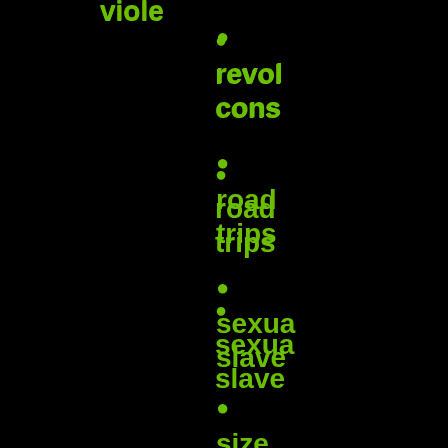viole
revol
cons
road
trips
sexua
slave
size
diffe
somr
stock
synd
tenta